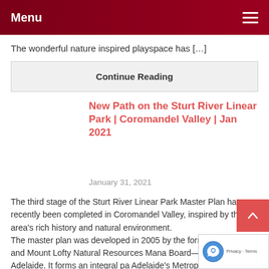Menu
The wonderful nature inspired playspace has […]
Continue Reading
New Path on the Sturt River Linear Park | Coromandel Valley | Jan 2021
January 31, 2021
The third stage of the Sturt River Linear Park Master Plan has recently been completed in Coromandel Valley, inspired by the area's rich history and natural environment.
The master plan was developed in 2005 by the form Adelaide and Mount Lofty Natural Resources Mana Board—now Green Adelaide. It forms an integral pa Adelaide's Metropolitan Open […]